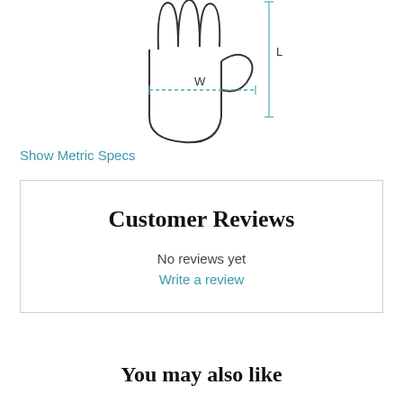[Figure (illustration): A line drawing of a hand/glove viewed from the palm side, showing measurement guides: 'W' for width (horizontal dashed line across the palm) and 'L' for length (vertical line on the right side). Dimension lines in blue/teal.]
Show Metric Specs
Customer Reviews
No reviews yet
Write a review
You may also like